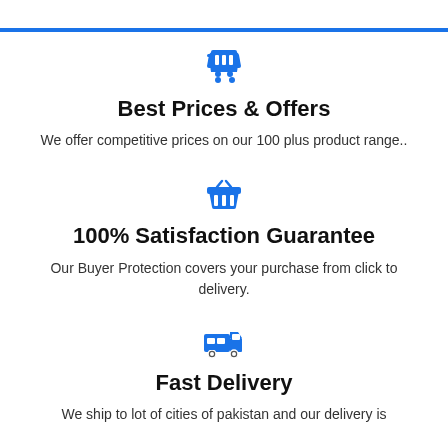[Figure (illustration): Blue shopping cart icon]
Best Prices & Offers
We offer competitive prices on our 100 plus product range..
[Figure (illustration): Blue shopping basket icon]
100% Satisfaction Guarantee
Our Buyer Protection covers your purchase from click to delivery.
[Figure (illustration): Blue delivery truck icon]
Fast Delivery
We ship to lot of cities of pakistan and our delivery is